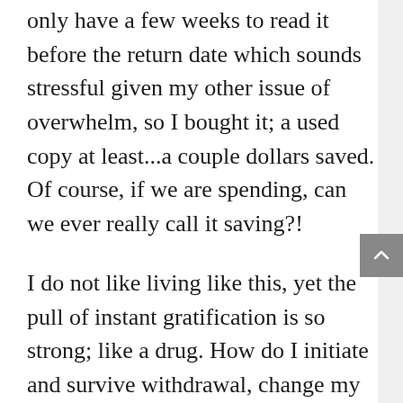only have a few weeks to read it before the return date which sounds stressful given my other issue of overwhelm, so I bought it; a used copy at least...a couple dollars saved. Of course, if we are spending, can we ever really call it saving?!
I do not like living like this, yet the pull of instant gratification is so strong; like a drug. How do I initiate and survive withdrawal, change my habits, and go back to living like I did before that first credit card?! I know the answer